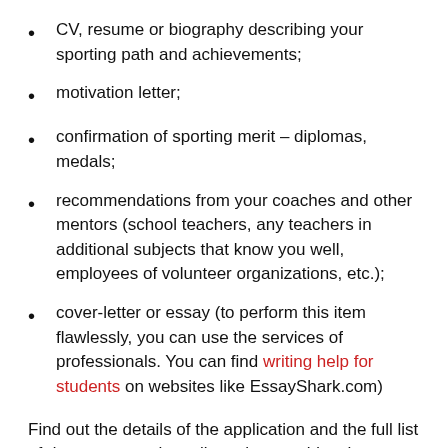CV, resume or biography describing your sporting path and achievements;
motivation letter;
confirmation of sporting merit – diplomas, medals;
recommendations from your coaches and other mentors (school teachers, any teachers in additional subjects that know you well, employees of volunteer organizations, etc.);
cover-letter or essay (to perform this item flawlessly, you can use the services of professionals. You can find writing help for students on websites like EssayShark.com)
Find out the details of the application and the full list of documents at the college that provides the scholarship